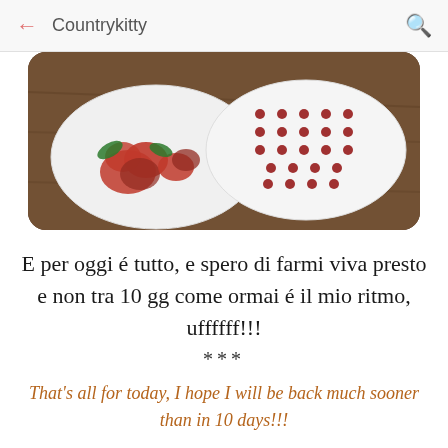← Countrykitty 🔍
[Figure (photo): Two round decorative tins on a wooden surface: left tin is white with red roses, right tin is white with red polka dots]
E per oggi é tutto, e spero di farmi viva presto e non tra 10 gg come ormai é il mio ritmo, uffffff!!!
***
That's all for today, I hope I will be back much sooner than in 10 days!!!